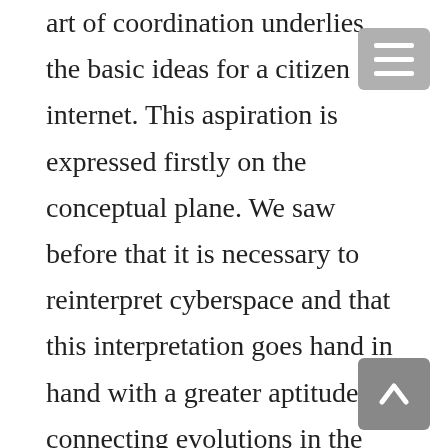art of coordination underlies the basic ideas for a citizen internet. This aspiration is expressed firstly on the conceptual plane. We saw before that it is necessary to reinterpret cyberspace and that this interpretation goes hand in hand with a greater aptitude in connecting evolutions in the national, regional and global context. In Latin America, analyses of the digital situation often try to weave together media/legal offensives present in various countries, with the scenarios of monopoly and economic dependence, against a background of regional integration that has postponed the progress of autonomy in terms of communication and infrastructure policies. This is also contextualized in cities and in local territories. These latter play a decisive role in the construction of post-neoliberal models that can confront the productivist logic. In practice, weaving together all these issues is not easy. The spaces for debate underline this difficulty of a cross-section perspective. How to prioritize